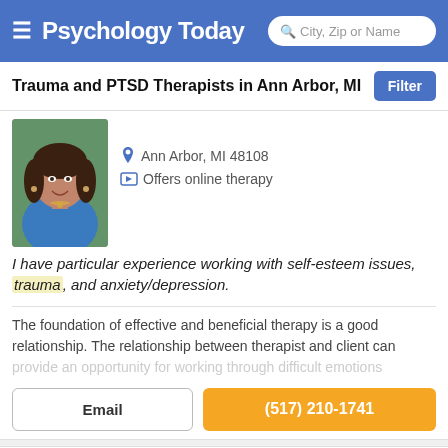Psychology Today — City, Zip or Name search
Trauma and PTSD Therapists in Ann Arbor, MI
Ann Arbor, MI 48108
Offers online therapy
I have particular experience working with self-esteem issues, trauma, and anxiety/depression.
The foundation of effective and beneficial therapy is a good relationship. The relationship between therapist and client can provide an opportunity for working through difficult emotions
Email
(517) 210-1741
Heather Kadrich
Psychologist, PsyD, LLP